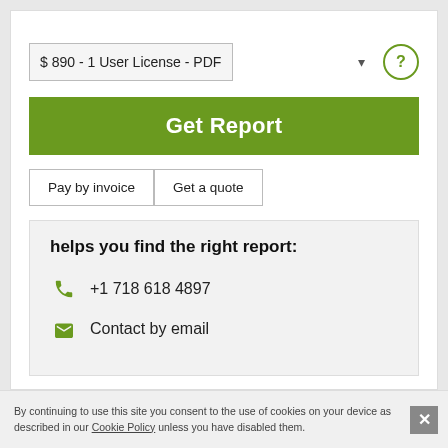$ 890 - 1 User License - PDF
Get Report
Pay by invoice
Get a quote
helps you find the right report:
+1 718 618 4897
Contact by email
By continuing to use this site you consent to the use of cookies on your device as described in our Cookie Policy unless you have disabled them.